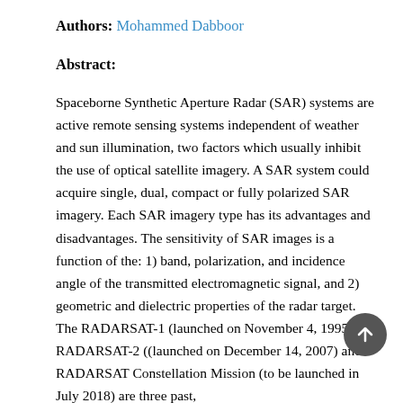Authors: Mohammed Dabboor
Abstract:
Spaceborne Synthetic Aperture Radar (SAR) systems are active remote sensing systems independent of weather and sun illumination, two factors which usually inhibit the use of optical satellite imagery. A SAR system could acquire single, dual, compact or fully polarized SAR imagery. Each SAR imagery type has its advantages and disadvantages. The sensitivity of SAR images is a function of the: 1) band, polarization, and incidence angle of the transmitted electromagnetic signal, and 2) geometric and dielectric properties of the radar target. The RADARSAT-1 (launched on November 4, 1995), RADARSAT-2 ((launched on December 14, 2007) and RADARSAT Constellation Mission (to be launched in July 2018) are three past,